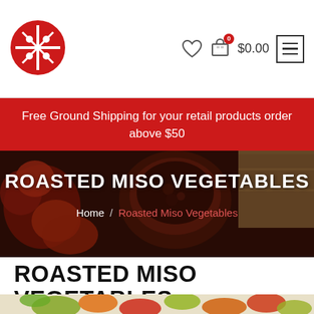[Figure (logo): Red circular logo with cross/grid pattern and dots]
$0.00
Free Ground Shipping for your retail products order above $50
[Figure (photo): Hero banner background showing tomatoes and a bowl of red sauce on a wooden board]
ROASTED MISO VEGETABLES
Home / Roasted Miso Vegetables
ROASTED MISO VEGETABLES
[Figure (photo): Roasted mixed vegetables including zucchini, tomatoes, carrots, and red onion in a white dish]